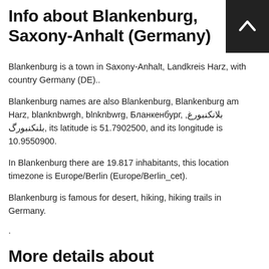Info about Blankenburg, Saxony-Anhalt (Germany)
Blankenburg is a town in Saxony-Anhalt, Landkreis Harz, with country Germany (DE)..
Blankenburg names are also Blankenburg, Blankenburg am Harz, blanknbwrgh, blnknbwrg, Бланкенбург, بلانكنبورغ, بلنکنبورگ, its latitude is 51.7902500, and its longitude is 10.9550900.
In Blankenburg there are 19.817 inhabitants, this location timezone is Europe/Berlin (Europe/Berlin_cet).
Blankenburg is famous for desert, hiking, hiking trails in Germany.
.
More details about Blankenburg in Germany (DE)